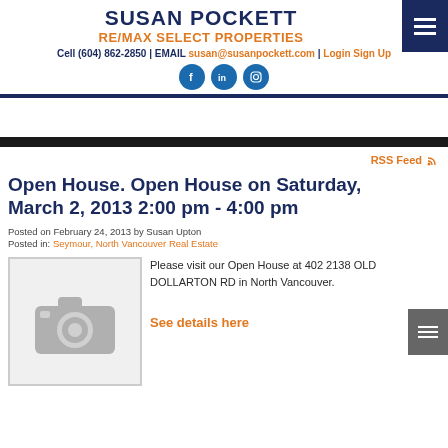SUSAN POCKETT
RE/MAX SELECT PROPERTIES
Cell (604) 862-2850 | EMAIL susan@susanpockett.com | Login Sign Up
Open House. Open House on Saturday, March 2, 2013 2:00 pm - 4:00 pm
Posted on February 24, 2013 by Susan Upton
Posted in: Seymour, North Vancouver Real Estate
[Figure (photo): Placeholder camera icon image in a grey bordered box]
Please visit our Open House at 402 2138 OLD DOLLARTON RD in North Vancouver.

See details here